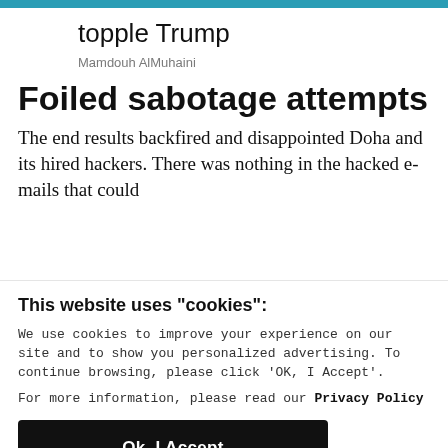topple Trump
Mamdouh AlMuhaini
Foiled sabotage attempts
The end results backfired and disappointed Doha and its hired hackers. There was nothing in the hacked e-mails that could
This website uses "cookies":
We use cookies to improve your experience on our site and to show you personalized advertising. To continue browsing, please click 'OK, I Accept'.
For more information, please read our Privacy Policy
Ok, I Accept